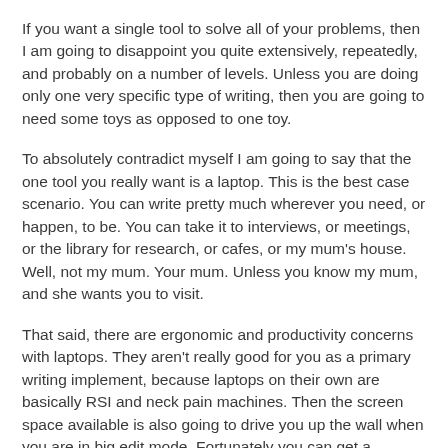If you want a single tool to solve all of your problems, then I am going to disappoint you quite extensively, repeatedly, and probably on a number of levels. Unless you are doing only one very specific type of writing, then you are going to need some toys as opposed to one toy.
To absolutely contradict myself I am going to say that the one tool you really want is a laptop. This is the best case scenario. You can write pretty much wherever you need, or happen, to be. You can take it to interviews, or meetings, or the library for research, or cafes, or my mum's house. Well, not my mum. Your mum. Unless you know my mum, and she wants you to visit.
That said, there are ergonomic and productivity concerns with laptops. They aren't really good for you as a primary writing implement, because laptops on their own are basically RSI and neck pain machines. Then the screen space available is also going to drive you up the wall when you are in big edit mode. Fortunately you can get a monitor, keyboard, and mouse for your laptop and treat it as a